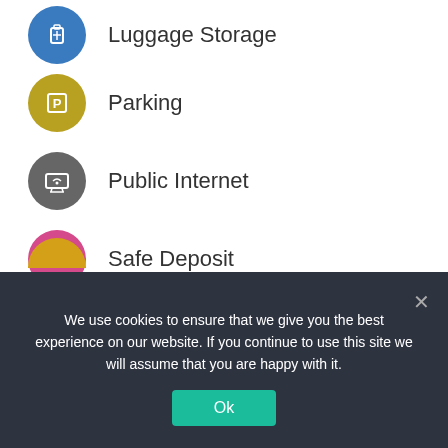Luggage Storage
Parking
Public Internet
Safe Deposit
Shuttle Bus
Tour Counter
We use cookies to ensure that we give you the best experience on our website. If you continue to use this site we will assume that you are happy with it.
Ok